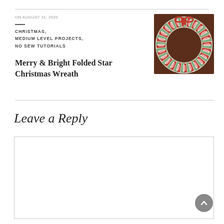ON AUGUST 31, 2020
CHRISTMAS, MEDIUM LEVEL PROJECTS, NO SEW TUTORIALS
Merry & Bright Folded Star Christmas Wreath
[Figure (photo): A red, white, and green folded star Christmas wreath hanging on a dark wooden door]
Leave a Reply
Comment